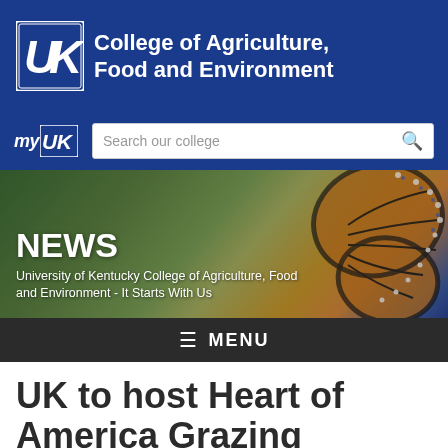[Figure (logo): University of Kentucky College of Agriculture, Food and Environment header logo with blue background, UK logo mark and college name in white text]
[Figure (screenshot): Navigation bar with myUK logo and search box saying 'Search our college' on blue background]
[Figure (photo): Hero image with monarch butterfly on blurred green background, overlaid with NEWS heading and University of Kentucky College of Agriculture, Food and Environment - It Starts With Us subtitle]
NEWS
University of Kentucky College of Agriculture, Food and Environment - It Starts With Us
≡ MENU
UK to host Heart of America Grazing Conference